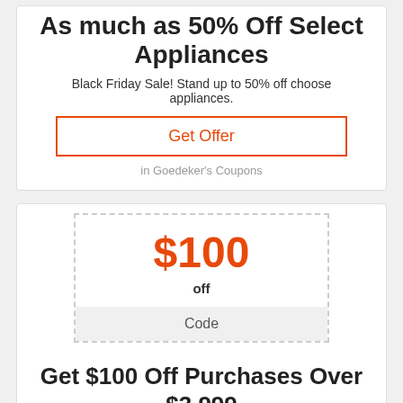As much as 50% Off Select Appliances
Black Friday Sale! Stand up to 50% off choose appliances.
Get Offer
in Goedeker's Coupons
$100
off
Code
Get $100 Off Purchases Over $3,999
Get $100 off acquisitions over $3,999.